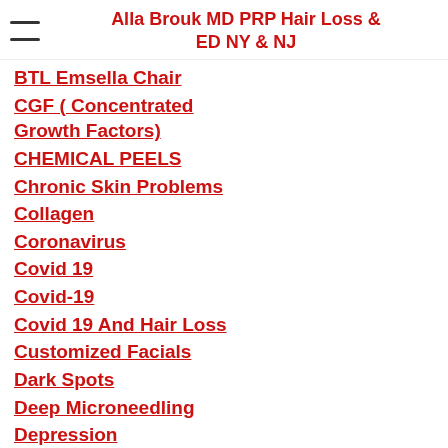Alla Brouk MD PRP Hair Loss & ED NY & NJ
BTL Emsella Chair
CGF ( Concentrated Growth Factors)
CHEMICAL PEELS
Chronic Skin Problems
Collagen
Coronavirus
Covid 19
Covid-19
Covid 19 And Hair Loss
Customized Facials
Dark Spots
Deep Microneedling
Depression
Diabetes
Dr Alla Brouk Long Island NY